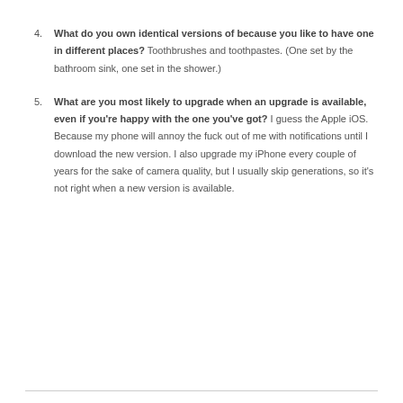4. What do you own identical versions of because you like to have one in different places? Toothbrushes and toothpastes. (One set by the bathroom sink, one set in the shower.)
5. What are you most likely to upgrade when an upgrade is available, even if you're happy with the one you've got? I guess the Apple iOS. Because my phone will annoy the fuck out of me with notifications until I download the new version. I also upgrade my iPhone every couple of years for the sake of camera quality, but I usually skip generations, so it's not right when a new version is available.